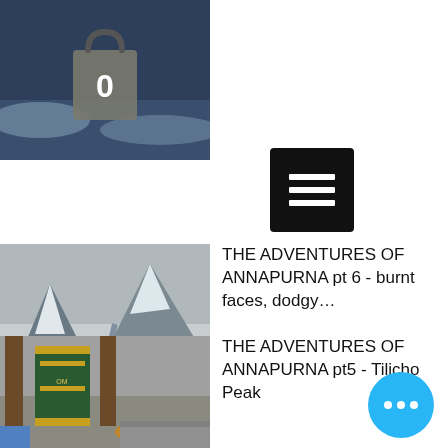[Figure (photo): Top photo showing snowy landscape with shopping bag icon showing number 0]
[Figure (other): Black hamburger menu button with three white horizontal lines]
[Figure (photo): Mountain valley with snow, rocky terrain and cloudy sky]
THE ADVENTURES OF ANNAPURNA pt 6 - burnt faces, dodgy…
[Figure (photo): Tibetan prayer wheel and stone building with a cat resting below]
THE ADVENTURES OF ANNAPURNA pt5 - Tilicho Peak
[Figure (other): Cyan circular FAB button with three white dots]